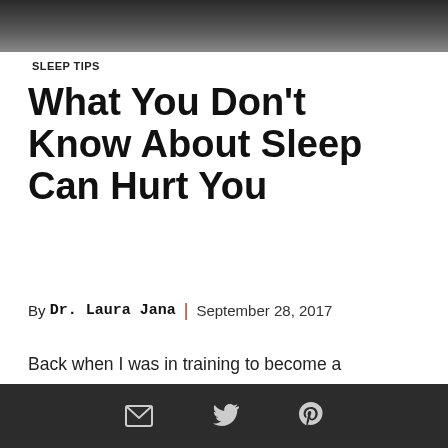[Figure (photo): Dark blurred header photo at top of page]
SLEEP TIPS
What You Don't Know About Sleep Can Hurt You
By Dr. Laura Jana | September 28, 2017
Back when I was in training to become a pediatrician, the medical industry, in general, seemed to treat sleep as nothing more than the absence of being awake. Sure, I was
[Figure (other): Dark footer bar with email, Twitter, and Pinterest social sharing icons]